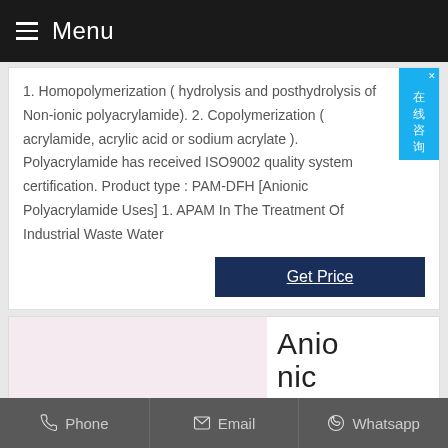Menu
1. Homopolymerization ( hydrolysis and posthydrolysis of Non-ionic polyacrylamide). 2. Copolymerization ( acrylamide, acrylic acid or sodium acrylate ). Polyacrylamide has received ISO9002 quality system certification. Product type : PAM-DFH [Anionic Polyacrylamide Uses] 1. APAM In The Treatment Of Industrial Waste Water
Get Price
[Figure (photo): Light pink/white powder product image on the left, with text 'Anionic' and an orange and dark blue arrow/chevron logo on the right]
Phone   Email   Whatsapp